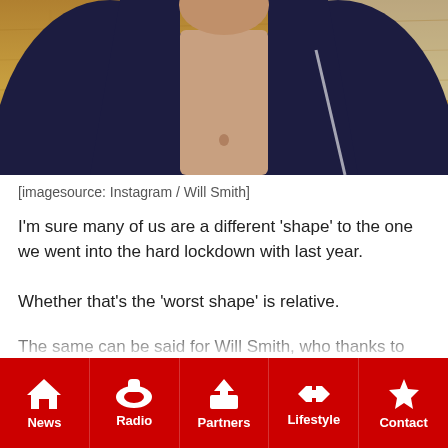[Figure (photo): Photo of Will Smith with open jacket showing torso, standing in front of golden/brown dry grass background]
[imagesource: Instagram / Will Smith]
I'm sure many of us are a different 'shape' to the one we went into the hard lockdown with last year.
Whether that's the 'worst shape' is relative.
The same can be said for Will Smith, who thanks to lockdown restrictions, is now rocking a 'dad bod', as the kids would say.
Via The Daily Mail, Smith just posted a snap of himself on
News | Radio | Partners | Lifestyle | Contact